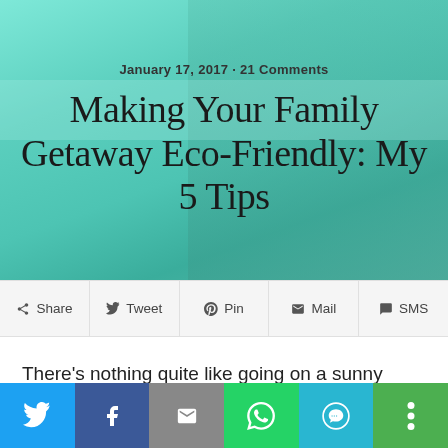[Figure (photo): Hero image of a man and child at a beach with teal water, overlaid with a semi-transparent green-teal color wash]
January 17, 2017 • 21 Comments
Making Your Family Getaway Eco-Friendly: My 5 Tips
Share  Tweet  Pin  Mail  SMS
There's nothing quite like going on a sunny beach getaway with the entire family. Aside from spending quality time with the entire gang, there are also ways to make your vacation eco-friendly. It's always good to care for this wonderful planet. After all, it does provide us with